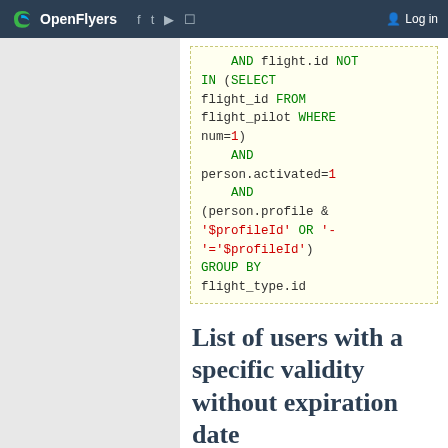OpenFlyers  Log in
[Figure (screenshot): Code block showing SQL query snippet with AND, NOT IN, SELECT, FROM, WHERE, GROUP BY keywords in green/red syntax highlighting on light yellow background]
List of users with a specific validity without expiration date
Variable $validityId should be defined first and should be of dbOject::ValidityType